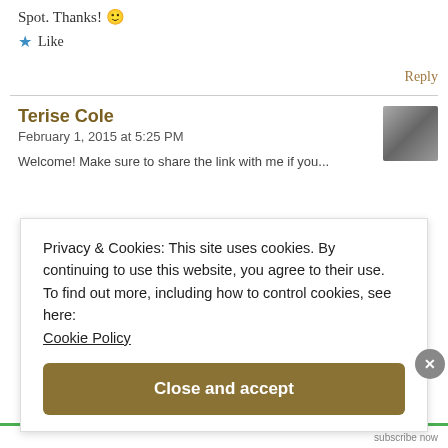Spot. Thanks! 🙂
★ Like
Reply
Terise Cole
February 1, 2015 at 5:25 PM
Welcome! Make sure to share the link with me if you...
Privacy & Cookies: This site uses cookies. By continuing to use this website, you agree to their use.
To find out more, including how to control cookies, see here:
Cookie Policy
Close and accept